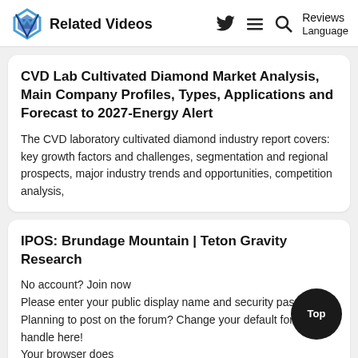Related Videos  Reviews Language
CVD Lab Cultivated Diamond Market Analysis, Main Company Profiles, Types, Applications and Forecast to 2027-Energy Alert
The CVD laboratory cultivated diamond industry report covers: key growth factors and challenges, segmentation and regional prospects, major industry trends and opportunities, competition analysis,
IPOS: Brundage Mountain | Teton Gravity Research
No account? Join now
Please enter your public display name and security pass
Planning to post on the forum? Change your default forum handle here!
Your browser does